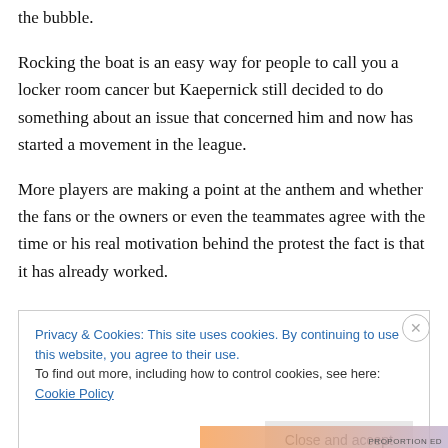the bubble.
Rocking the boat is an easy way for people to call you a locker room cancer but Kaepernick still decided to do something about an issue that concerned him and now has started a movement in the league.
More players are making a point at the anthem and whether the fans or the owners or even the teammates agree with the time or his real motivation behind the protest the fact is that it has already worked.
Privacy & Cookies: This site uses cookies. By continuing to use this website, you agree to their use. To find out more, including how to control cookies, see here: Cookie Policy
Close and accept